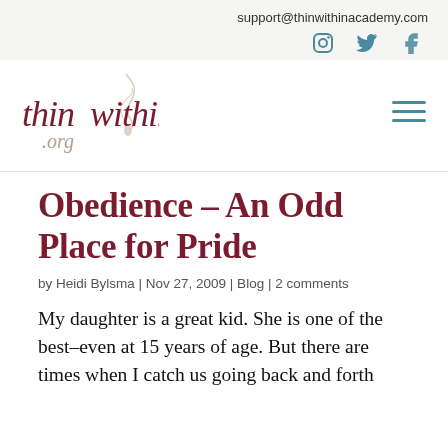support@thinwithinacademy.com
[Figure (logo): Social media icons: Instagram, Twitter, Facebook in teal/slate blue color]
[Figure (logo): thin within .org logo in dark red/maroon serif italic font with a decorative figure]
Obedience – An Odd Place for Pride
by Heidi Bylsma | Nov 27, 2009 | Blog | 2 comments
My daughter is a great kid. She is one of the best–even at 15 years of age. But there are times when I catch us going back and forth about something and li...